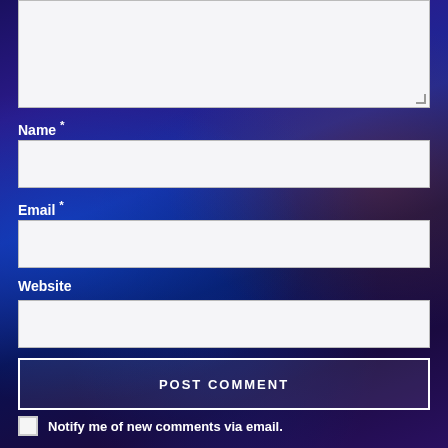[Figure (screenshot): A comment form on a gaming website. Background shows a dark blue/purple fantasy game artwork with characters. The form contains a textarea at the top, then Name*, Email*, Website fields, a POST COMMENT button, and a checkbox for email notifications.]
Name *
Email *
Website
POST COMMENT
Notify me of new comments via email.